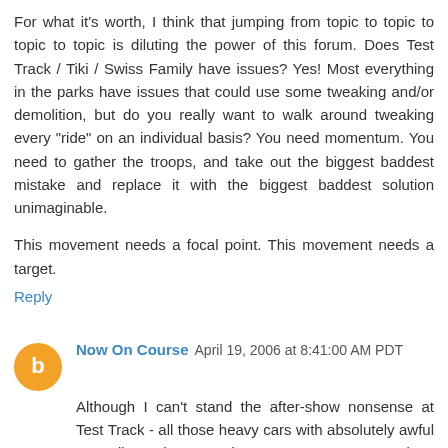For what it's worth, I think that jumping from topic to topic to topic to topic is diluting the power of this forum. Does Test Track / Tiki / Swiss Family have issues? Yes! Most everything in the parks have issues that could use some tweaking and/or demolition, but do you really want to walk around tweaking every "ride" on an individual basis? You need momentum. You need to gather the troops, and take out the biggest baddest mistake and replace it with the biggest baddest solution unimaginable.

This movement needs a focal point. This movement needs a target.
Reply
Now On Course  April 19, 2006 at 8:41:00 AM PDT
Although I can't stand the after-show nonsense at Test Track - all those heavy cars with absolutely awful gas mileage have no place at Epcot - you can't deny the popularity of the attraction. I still have to tell guests every day, "No, Epcot is not the boring park! Yes, you absolutely